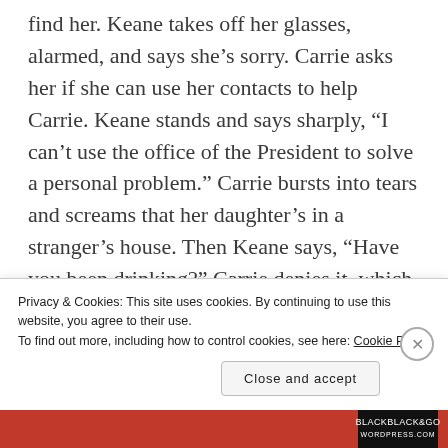find her. Keane takes off her glasses, alarmed, and says she’s sorry. Carrie asks her if she can use her contacts to help Carrie. Keane stands and says sharply, “I can’t use the office of the President to solve a personal problem.” Carrie bursts into tears and screams that her daughter’s in a stranger’s house. Then Keane says, “Have you been drinking?” Carrie denies it, which is futile since she’s crying wildly and saying absurd things. She even brings up Keane’s dead son, which is such a huge, embarrassing, rude mistake. That’s what finally wakes her up to the fact
Privacy & Cookies: This site uses cookies. By continuing to use this website, you agree to their use.
To find out more, including how to control cookies, see here: Cookie Policy
Close and accept